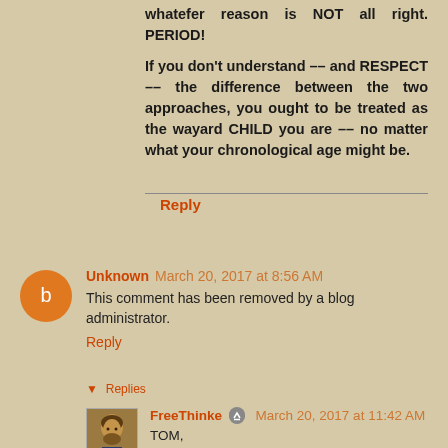whatefer reason is NOT all right. PERIOD!

If you don't understand –– and RESPECT –– the difference between the two approaches, you ought to be treated as the wayard CHILD you are –– no matter what your chronological age might be.
Reply
Unknown March 20, 2017 at 8:56 AM
This comment has been removed by a blog administrator.
Reply
▼ Replies
FreeThinke ✎ March 20, 2017 at 11:42 AM
TOM,

How many times do I have to tell you that we do